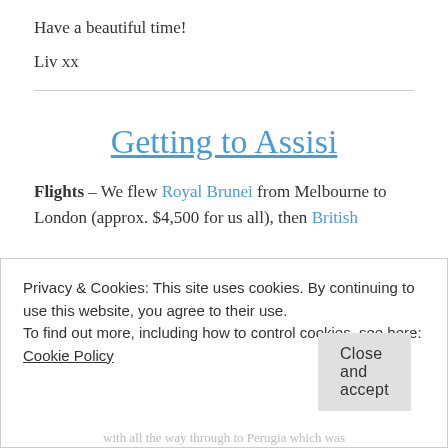Have a beautiful time!
Liv xx
Getting to Assisi
Flights – We flew Royal Brunei from Melbourne to London (approx. $4,500 for us all), then British
Privacy & Cookies: This site uses cookies. By continuing to use this website, you agree to their use.
To find out more, including how to control cookies, see here:
Cookie Policy
Close and accept
with all the way through to Perugia which was